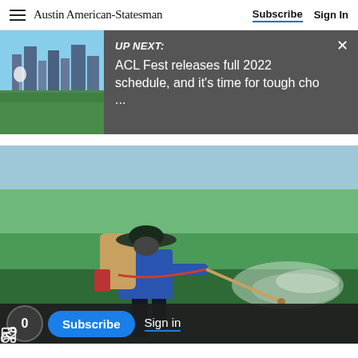Austin American-Statesman | Subscribe | Sign In
UP NEXT: ACL Fest releases full 2022 schedule, and it's time for tough cho ...
[Figure (photo): A worker wearing a wide-brimmed hat and blue long-sleeve shirt, carrying a large backpack sprayer, spraying pesticide or herbicide over a green grass field.]
0  Subscribe  Sign in